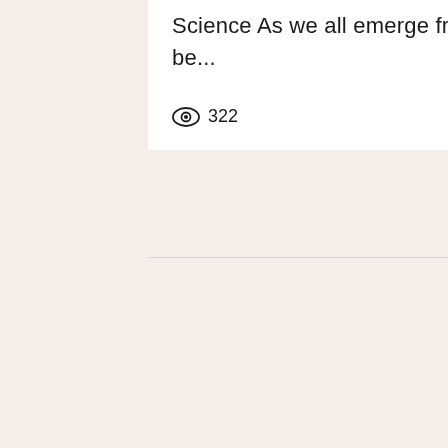Science As we all emerge from lockdowns, one of the first priorities will be...
322